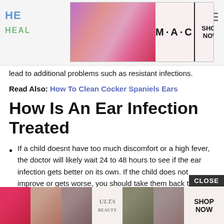HE... HEAL...
[Figure (advertisement): MAC cosmetics lipstick advertisement banner with SHOP NOW button]
lead to additional problems such as resistant infections.
Read Also: How To Clean Cocker Spaniels Ears
How Is An Ear Infection Treated
If a child doesnt have too much discomfort or a high fever, the doctor will likely wait 24 to 48 hours to see if the ear infection gets better on its own. If the child does not improve or gets worse, you should take them back to the doctor.
You childs doctor will prescribe antibiotics if:
you ... fever ,
yo...
[Figure (advertisement): ULTA beauty advertisement banner with SHOP NOW button at the bottom of the page]